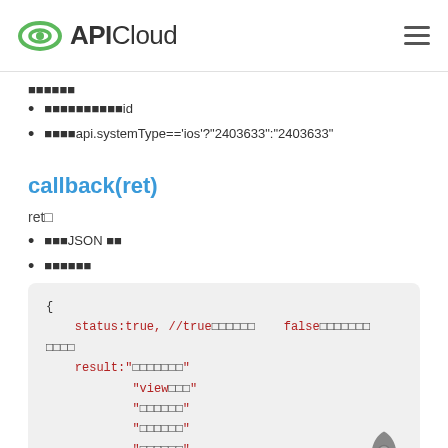APICloud
■■■■■■■■■■■id
■■■■api.systemType=='ios'?"2403633":"2403633"
callback(ret)
ret■
■■■JSON ■■
■■■■■■
{
    status:true, //true■■■■■■    false■■■■■■■
■■■■
    result:"■■■■■■■"
            "view■■■"
            "■■■■■■"
            "■■■■■■"
            "■■■■■■"
}